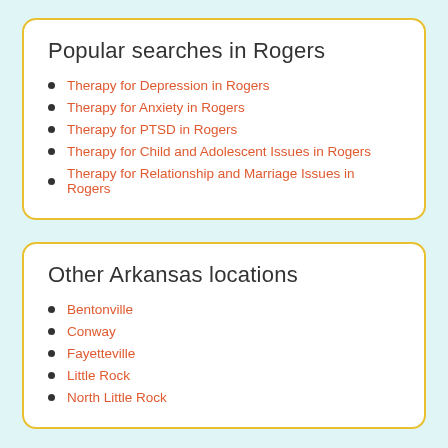Popular searches in Rogers
Therapy for Depression in Rogers
Therapy for Anxiety in Rogers
Therapy for PTSD in Rogers
Therapy for Child and Adolescent Issues in Rogers
Therapy for Relationship and Marriage Issues in Rogers
Other Arkansas locations
Bentonville
Conway
Fayetteville
Little Rock
North Little Rock